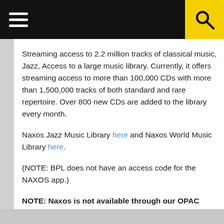Navigation header with hamburger menu and search icon
Streaming access to 2.2 million tracks of classical music, Jazz, Access to a large music library. Currently, it offers streaming access to more than 100,000 CDs with more than 1,500,000 tracks of both standard and rare repertoire. Over 800 new CDs are added to the library every month.
Naxos Jazz Music Library here and Naxos World Music Library here.
(NOTE: BPL does not have an access code for the NAXOS app.)
NOTE: Naxos is not available through our OPAC terminals. Check out a Chromebook at any branch to use this resource.